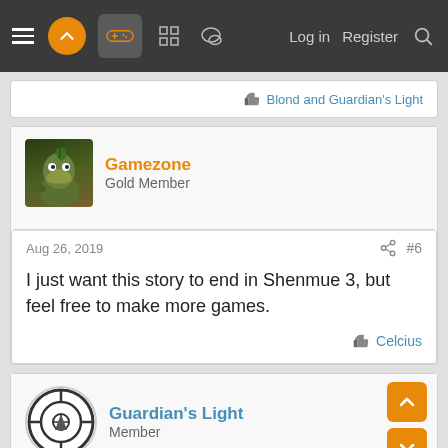Navigation bar with menu, logo, gamepad icon, grid icon, chat icon, Log in, Register, Search
Blond and Guardian's Light
Gamezone
Gold Member
Aug 26, 2019  #6
I just want this story to end in Shenmue 3, but feel free to make more games.
Celcius
Guardian's Light
Member
Aug 26, 2019  #7